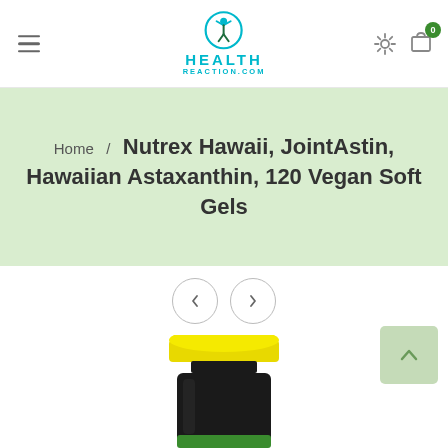Health Reaction.com
Home / Nutrex Hawaii, JointAstin, Hawaiian Astaxanthin, 120 Vegan Soft Gels
[Figure (photo): Product photo of a dark supplement bottle with yellow cap — Nutrex Hawaii JointAstin Hawaiian Astaxanthin 120 Vegan Soft Gels]